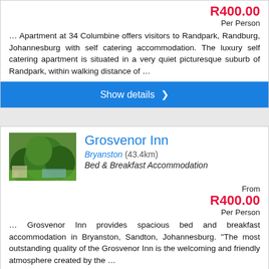R400.00
Per Person
… Apartment at 34 Columbine offers visitors to Randpark, Randburg, Johannesburg with self catering accommodation. The luxury self catering apartment is situated in a very quiet picturesque suburb of Randpark, within walking distance of …
Show details >
[Figure (photo): Outdoor garden scene with trees and a swimming pool area at Grosvenor Inn]
Grosvenor Inn
Bryanston (43.4km)
Bed & Breakfast Accommodation
From
R400.00
Per Person
… Grosvenor Inn provides spacious bed and breakfast accommodation in Bryanston, Sandton, Johannesburg. "The most outstanding quality of the Grosvenor Inn is the welcoming and friendly atmosphere created by the …
Show details >